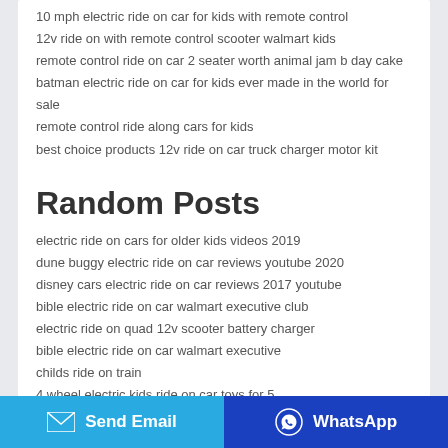10 mph electric ride on car for kids with remote control
12v ride on with remote control scooter walmart kids
remote control ride on car 2 seater worth animal jam b day cake
batman electric ride on car for kids ever made in the world for sale
remote control ride along cars for kids
best choice products 12v ride on car truck charger motor kit
Random Posts
electric ride on cars for older kids videos 2019
dune buggy electric ride on car reviews youtube 2020
disney cars electric ride on car reviews 2017 youtube
bible electric ride on car walmart executive club
electric ride on quad 12v scooter battery charger
bible electric ride on car walmart executive
childs ride on train
4 wheel electric kids ride on car toys for 5
power ride on toys for 8 year olds toddlers boy online games
f1 ride on electric car for kids 2 seater electric car price in india
Products you may be interested in
Send Email   WhatsApp